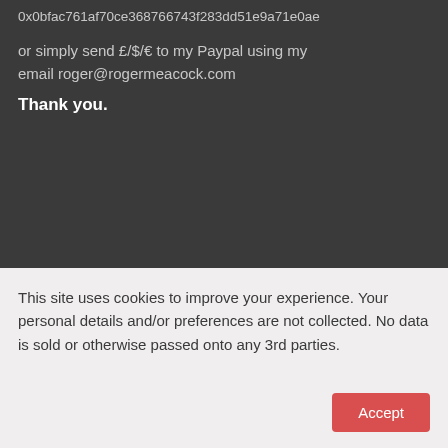0x0bfac761af70ce368766743f283dd51e9a71e0ae
or simply send £/$/€ to my Paypal using my email roger@rogermeacock.com
Thank you.
This site uses cookies to improve your experience. Your personal details and/or preferences are not collected. No data is sold or otherwise passed onto any 3rd parties.